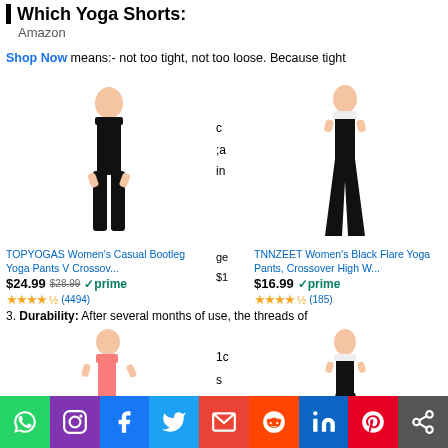Which Yoga Shorts: Amazon
Shop Now means:- not too tight, not too loose. Because tight
[Figure (photo): Woman wearing black bootleg yoga pants, standing pose]
c
;a
in
[Figure (photo): Woman wearing black flare yoga pants, side profile]
TOPYOGAS Women's Casual Bootleg Yoga Pants V Crossov...
$24.99 $28.99 prime
★★★★½ (4494)
ge $1
TNNZEET Women's Black Flare Yoga Pants, Crossover High W...
$16.99 prime
★★★★½ (185)
3. Durability: After several months of use, the threads of
[Figure (photo): Woman in pink top wearing black bootleg yoga pants]
1c
s
e
[Figure (photo): Woman wearing black flare yoga pants with pocket, side profile]
WhatsApp Instagram Facebook Twitter Email Reddit LinkedIn Pinterest Share